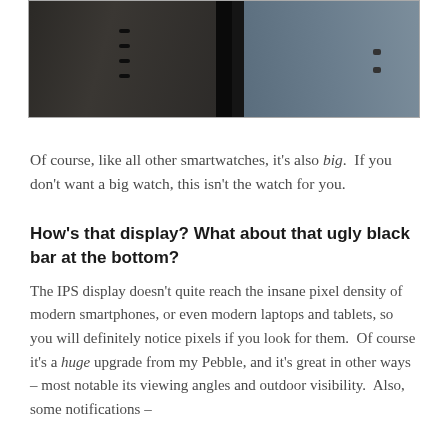[Figure (photo): Close-up photo of two smartwatch bands side by side against a dark background. Left band appears to be a darker/leather material with small rectangular holes, right band is lighter colored (silver/blue) with small holes.]
Of course, like all other smartwatches, it's also big. If you don't want a big watch, this isn't the watch for you.
How's that display? What about that ugly black bar at the bottom?
The IPS display doesn't quite reach the insane pixel density of modern smartphones, or even modern laptops and tablets, so you will definitely notice pixels if you look for them. Of course it's a huge upgrade from my Pebble, and it's great in other ways – most notable its viewing angles and outdoor visibility. Also, some notifications –